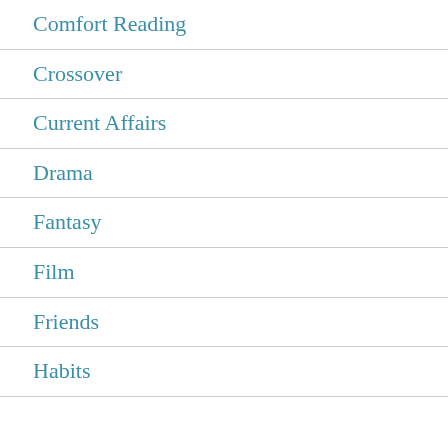Comfort Reading
Crossover
Current Affairs
Drama
Fantasy
Film
Friends
Habits